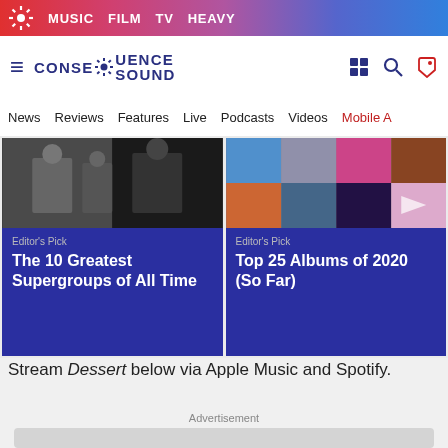MUSIC  FILM  TV  HEAVY
[Figure (logo): Consequence of Sound logo with gear icon and navigation icons]
News  Reviews  Features  Live  Podcasts  Videos  Mobile A
[Figure (photo): Editor's Pick card: The 10 Greatest Supergroups of All Time - dark band photo]
[Figure (photo): Editor's Pick card: Top 25 Albums of 2020 (So Far) - album collage]
Stream Dessert below via Apple Music and Spotify.
Advertisement